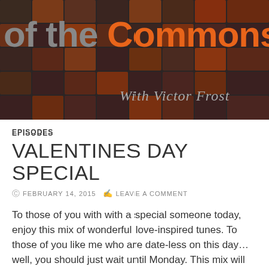[Figure (illustration): Dark banner with grid/tile pattern background in dark brown and orange, showing text 'of the Commons' with 'Commons' in orange, and subtitle 'With Victor Frost' in italic gray on the right side]
EPISODES
VALENTINES DAY SPECIAL
FEBRUARY 14, 2015    LEAVE A COMMENT
To those of you with with a special someone today, enjoy this mix of wonderful love-inspired tunes. To those of you like me who are date-less on this day… well, you should just wait until Monday. This mix will really just… y'know, get ya down. Maybe next week will be a death metal theme week or something. Fuck it. I don't even care anymore. Here is the tracklist you bunch of lovey-dovey sods